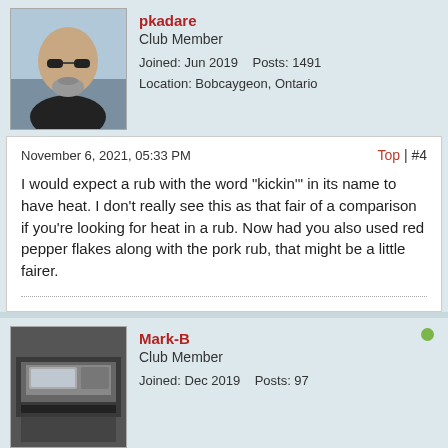[Figure (photo): Profile photo of user pkadare: bald man with sunglasses outdoors]
pkadare
Club Member
Joined: Jun 2019    Posts: 1491
Location: Bobcaygeon, Ontario
November 6, 2021, 05:33 PM    Top | #4
I would expect a rub with the word "kickin'" in its name to have heat. I don't really see this as that fair of a comparison if you're looking for heat in a rub. Now had you also used red pepper flakes along with the pork rub, that might be a little fairer.
[Figure (photo): Profile photo of user Mark-B: inside view of a vehicle/cockpit]
Mark-B
Club Member
Joined: Dec 2019    Posts: 97